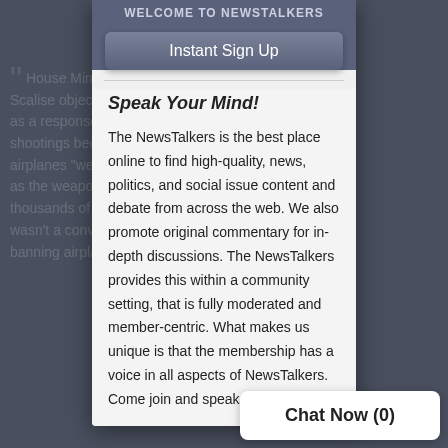[Figure (screenshot): Background webpage content showing news article quotes, partially obscured by modal overlay]
Instant Sign Up
Speak Your Mind!
The NewsTalkers is the best place online to find high-quality, news, politics, and social issue content and debate from across the web. We also promote original commentary for in-depth discussions. The NewsTalkers provides this within a community setting, that is fully moderated and member-centric. What makes us unique is that the membership has a voice in all aspects of NewsTalkers. Come join and speak your mind".
Chat Now (0)